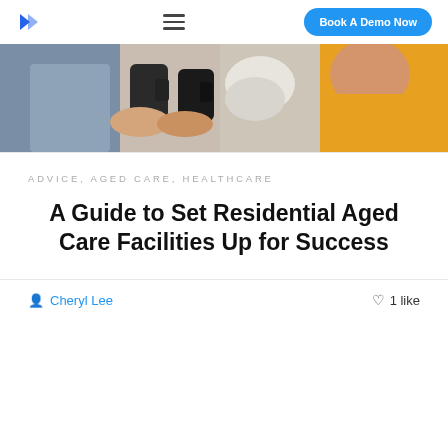Book A Demo Now
[Figure (photo): People holding mugs, an elderly person wearing a yellow scarf visible on the right]
ADVICE, AGED CARE, HEALTHCARE
A Guide to Set Residential Aged Care Facilities Up for Success
Cheryl Lee  ♡ 1 like